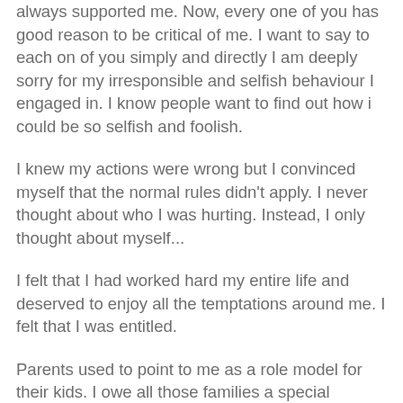always supported me. Now, every one of you has good reason to be critical of me. I want to say to each on of you simply and directly I am deeply sorry for my irresponsible and selfish behaviour I engaged in. I know people want to find out how i could be so selfish and foolish.
I knew my actions were wrong but I convinced myself that the normal rules didn't apply. I never thought about who I was hurting. Instead, I only thought about myself...
I felt that I had worked hard my entire life and deserved to enjoy all the temptations around me. I felt that I was entitled.
Parents used to point to me as a role model for their kids. I owe all those families a special apology. I want to say to them that I am truly sorry.
I recognize I have brought this on myself and I